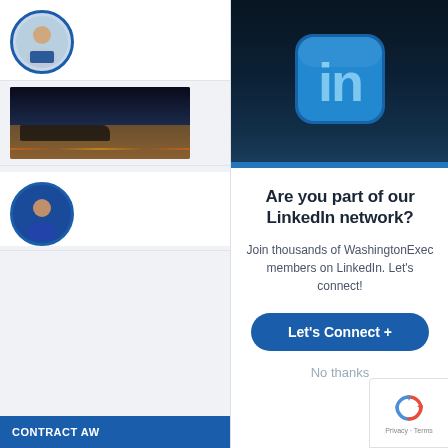[Figure (photo): Left sidebar showing website content partially obscured: profile photo of man in suit, cityscape/airport photo, profile photo of man, and a 'CONTRACT AW...' blue bar at bottom]
[Figure (screenshot): LinkedIn network popup modal with LinkedIn 'in' logo on dark blue background, headline 'Are you part of our LinkedIn network?', subtext 'Join thousands of WashingtonExec members on LinkedIn. Let’s connect!', a blue 'Let’s Connect +' button, and 'No thanks' link]
Are you part of our LinkedIn network?
Join thousands of WashingtonExec members on LinkedIn. Let's connect!
Let's Connect +
No thanks
[Figure (logo): reCAPTCHA badge with recycling arrows logo and 'Privacy - Terms' text]